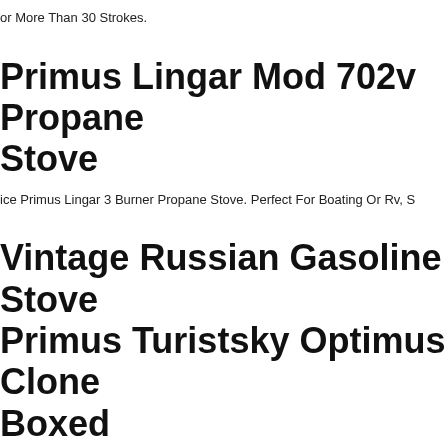or More Than 30 Strokes.
Primus Lingar Mod 702v Propane Stove
ice Primus Lingar 3 Burner Propane Stove. Perfect For Boating Or Rv, S
Vintage Russian Gasoline Stove Primus Turistsky Optimus Clone Boxed
uel - Petrol Gas Gasoline Benzin Car Gasoline Aviation Coleman Fuel And Other. One Of The Soviet Successful Products Of The Highest Quality. Clone Of Optimus 8r - Better Than The Original.
Primus Sweden 2012 Portable Wood Camp Stove 10lbs 8 Oz G